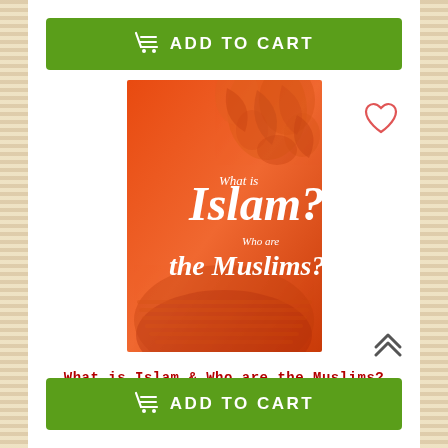[Figure (other): Green 'ADD TO CART' button with shopping cart icon at the top]
[Figure (photo): Book cover of 'What is Islam? Who are the Muslims?' with orange background and decorative Arabic patterns]
What is Islam & Who are the Muslims?
R78) $1.95
[Figure (other): Green 'ADD TO CART' button with shopping cart icon at the bottom]